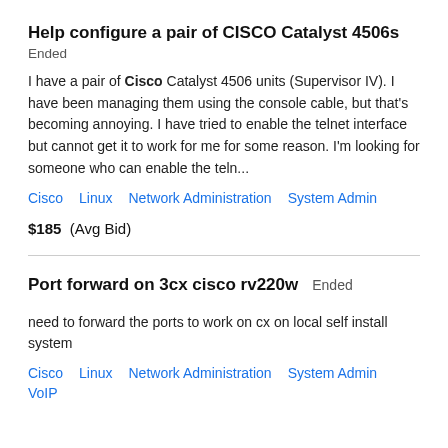Help configure a pair of CISCO Catalyst 4506s
Ended
I have a pair of Cisco Catalyst 4506 units (Supervisor IV). I have been managing them using the console cable, but that's becoming annoying. I have tried to enable the telnet interface but cannot get it to work for me for some reason. I'm looking for someone who can enable the teln...
Cisco   Linux   Network Administration   System Admin
$185  (Avg Bid)
Port forward on 3cx cisco rv220w  Ended
need to forward the ports to work on cx on local self install system
Cisco   Linux   Network Administration   System Admin   VoIP